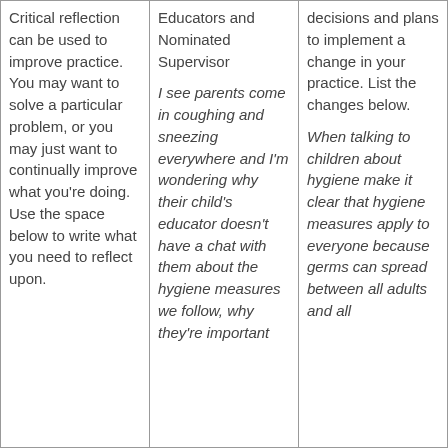| Critical reflection can be used to improve practice. You may want to solve a particular problem, or you may just want to continually improve what you're doing. Use the space below to write what you need to reflect upon. | Educators and Nominated Supervisor

I see parents come in coughing and sneezing everywhere and I'm wondering why their child's educator doesn't have a chat with them about the hygiene measures we follow, why they're important | decisions and plans to implement a change in your practice. List the changes below.

When talking to children about hygiene make it clear that hygiene measures apply to everyone because germs can spread between all adults and all |